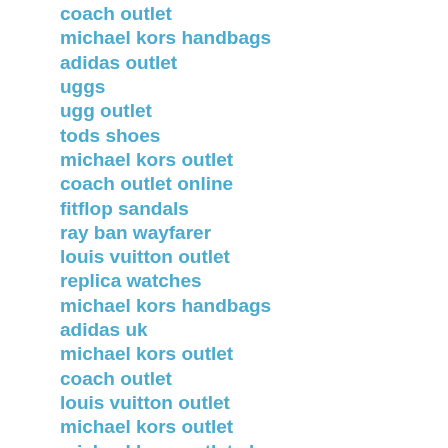coach outlet
michael kors handbags
adidas outlet
uggs
ugg outlet
tods shoes
michael kors outlet
coach outlet online
fitflop sandals
ray ban wayfarer
louis vuitton outlet
replica watches
michael kors handbags
adidas uk
michael kors outlet
coach outlet
louis vuitton outlet
michael kors outlet
michael kors outlet clearance
christian louboutin sale
fitflops uk
toms shoes
hollister kids